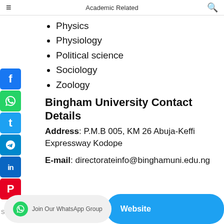Academic Related
Physics
Physiology
Political science
Sociology
Zoology
Bingham University Contact Details
Address: P.M.B 005, KM 26 Abuja-Keffi Expressway Kodope
E-mail: directorateinfo@binghamuni.edu.ng